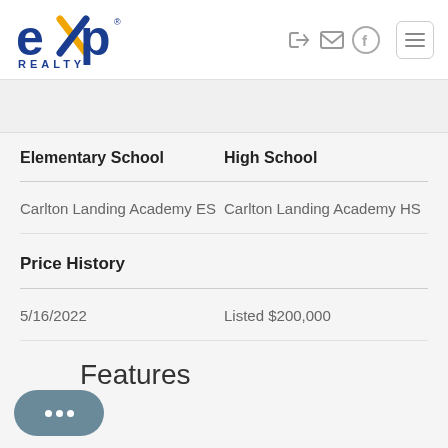[Figure (logo): eXp Realty logo with blue 'eXp' text and orange 'X' element, with 'REALTY' below]
| Elementary School | High School |
| --- | --- |
| Carlton Landing Academy ES | Carlton Landing Academy HS |
Price History
5/16/2022    Listed $200,000
Features